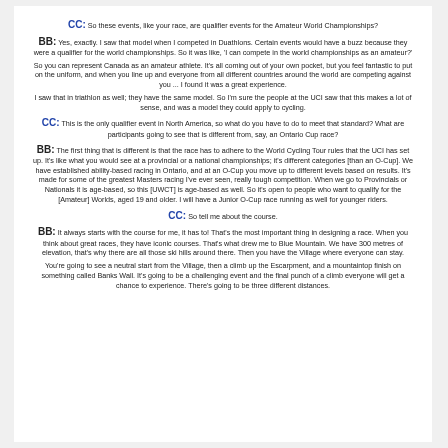CC: So these events, like your race, are qualifier events for the Amateur World Championships?
BB: Yes, exactly. I saw that model when I competed in Duathlons. Certain events would have a buzz because they were a qualifier for the world championships. So it was like, 'I can compete in the world championships as an amateur?'
So you can represent Canada as an amateur athlete. It's all coming out of your own pocket, but you feel fantastic to put on the uniform, and when you line up and everyone from all different countries around the world are competing against you ... I found it was a great experience.
I saw that in triathlon as well; they have the same model. So I'm sure the people at the UCI saw that this makes a lot of sense, and was a model they could apply to cycling.
CC: This is the only qualifier event in North America, so what do you have to do to meet that standard? What are participants going to see that is different from, say, an Ontario Cup race?
BB: The first thing that is different is that the race has to adhere to the World Cycling Tour rules that the UCI has set up. It's like what you would see at a provincial or a national championships; it's different categories [than an O-Cup]. We have established ability-based racing in Ontario, and at an O-Cup you move up to different levels based on results. It's made for some of the greatest Masters racing I've ever seen, really tough competition. When we go to Provincials or Nationals it is age-based, so this [UWCT] is age-based as well. So it's open to people who want to qualify for the [Amateur] Worlds, aged 19 and older. I will have a Junior O-Cup race running as well for younger riders.
CC: So tell me about the course.
BB: It always starts with the course for me, it has to! That's the most important thing in designing a race. When you think about great races, they have iconic courses. That's what drew me to Blue Mountain. We have 300 metres of elevation, that's why there are all those ski hills around there. Then you have the Village where everyone can stay.
You're going to see a neutral start from the Village, then a climb up the Escarpment, and a mountaintop finish on something called Banks Wall. It's going to be a challenging event and the final punch of a climb everyone will get a chance to experience. There's going to be three different distances.